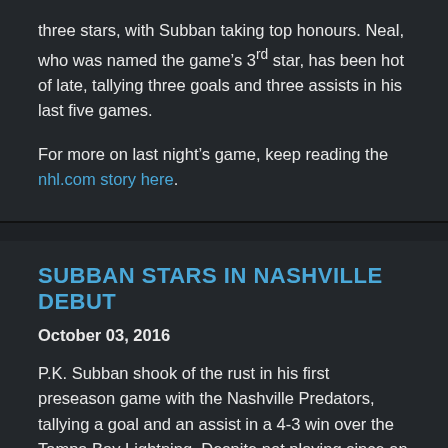three stars, with Subban taking top honours. Neal, who was named the game's 3rd star, has been hot of late, tallying three goals and three assists in his last five games.
For more on last night's game, keep reading the nhl.com story here.
SUBBAN STARS IN NASHVILLE DEBUT
October 03, 2016
P.K. Subban shook of the rust in his first preseason game with the Nashville Predators, tallying a goal and an assist in a 4-3 win over the Tampa Bay Lightning. Despite not playing since an injury sidelined him on March 10th, the Toronto-native seemed like his old